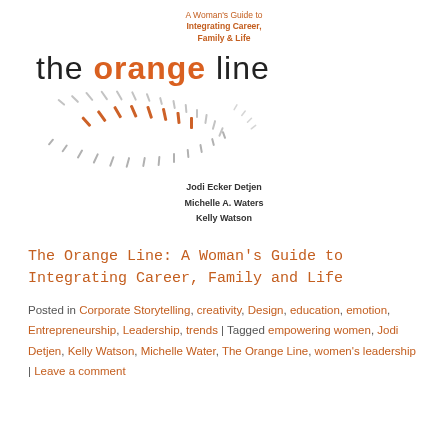A Woman's Guide to Integrating Career, Family & Life
[Figure (logo): The Orange Line logo with stylized spiral/dashes graphic in orange and gray]
Jodi Ecker Detjen
Michelle A. Waters
Kelly Watson
The Orange Line: A Woman's Guide to Integrating Career, Family and Life
Posted in Corporate Storytelling, creativity, Design, education, emotion, Entrepreneurship, Leadership, trends | Tagged empowering women, Jodi Detjen, Kelly Watson, Michelle Water, The Orange Line, women's leadership | Leave a comment